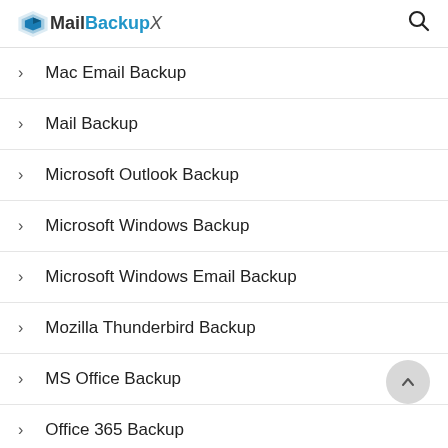MailBackupX
Mac Email Backup
Mail Backup
Microsoft Outlook Backup
Microsoft Windows Backup
Microsoft Windows Email Backup
Mozilla Thunderbird Backup
MS Office Backup
Office 365 Backup